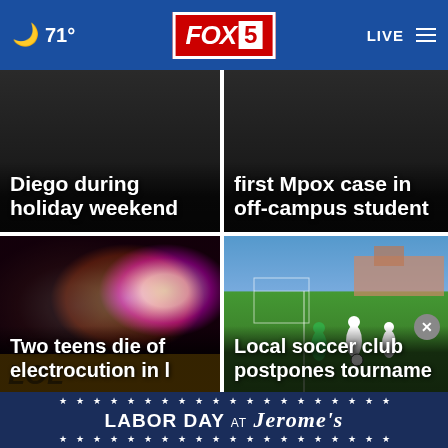🌙 71° FOX 5 LIVE
[Figure (screenshot): Dark news card with white bold text: 'Diego during holiday weekend']
[Figure (screenshot): Dark news card with white bold text: 'first Mpox case in off-campus student']
[Figure (photo): Police lights bokeh photo with text overlay: 'Two teens die of electrocution in L...']
[Figure (photo): Soccer players on green field with text overlay: 'Local soccer club postpones tourname...']
LABOR DAY AT Jerome's